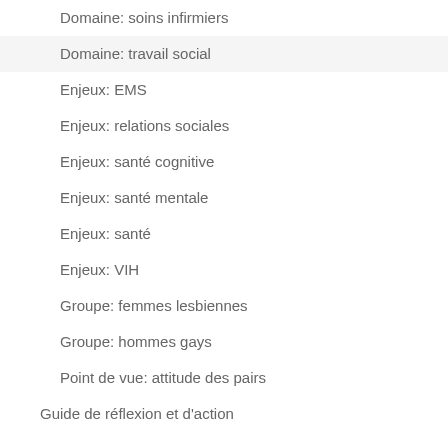Domaine: soins infirmiers
Domaine: travail social
Enjeux: EMS
Enjeux: relations sociales
Enjeux: santé cognitive
Enjeux: santé mentale
Enjeux: santé
Enjeux: VIH
Groupe: femmes lesbiennes
Groupe: hommes gays
Point de vue: attitude des pairs
Guide de réflexion et d'action